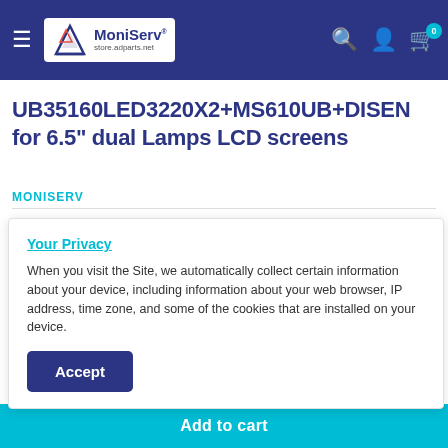MoniServ store.adparts.net — navigation bar with search, account, and cart icons
UB35160LED3220X2+MS610UB+DISEN for 6.5" dual Lamps LCD screens
MONISERV
Pay in 4 interest-free installments of $34.99 with shop Pay
Your Privacy
When you visit the Site, we automatically collect certain information about your device, including information about your web browser, IP address, time zone, and some of the cookies that are installed on your device.
Accept
Add to cart